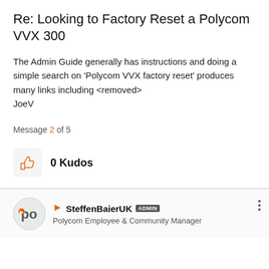Re: Looking to Factory Reset a Polycom VVX 300
The Admin Guide generally has instructions and doing a simple search on 'Polycom VVX factory reset' produces many links including <removed>
JoeV
Message 2 of 5
0 Kudos
SteffenBaierUK ADMIN
Polycom Employee & Community Manager